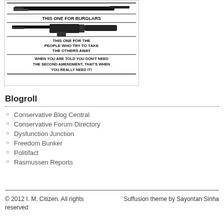[Figure (illustration): Gun control image showing firearms with text: 'THIS ONE FOR BURGLARS', 'THIS ONE FOR THE PEOPLE WHO TRY TO TAKE THE OTHERS AWAY', 'WHEN YOU ARE TOLD YOU DON'T NEED THE SECOND AMENDMENT, THAT'S WHEN YOU REALLY NEED IT!']
Blogroll
Conservative Blog Central
Conservative Forum Directory
Dysfunction Junction
Freedom Bunker
Politifact
Rasmussen Reports
© 2012 I. M. Citizen. All rights reserved    Suffusion theme by Sayontan Sinha